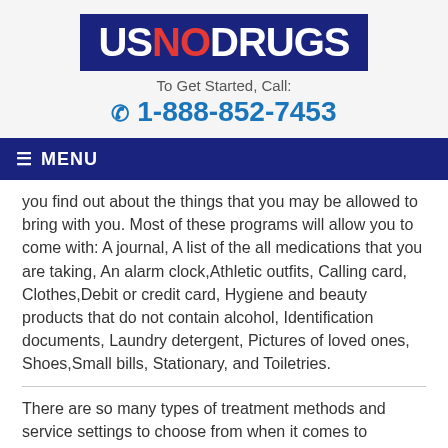[Figure (logo): USNODRUGS logo — blue rectangle with white text US, red text NO, white text DRUGS in bold]
To Get Started, Call:
☎ 1-888-852-7453
≡ MENU
you find out about the things that you may be allowed to bring with you. Most of these programs will allow you to come with: A journal, A list of the all medications that you are taking, An alarm clock,Athletic outfits, Calling card, Clothes,Debit or credit card, Hygiene and beauty products that do not contain alcohol, Identification documents, Laundry detergent, Pictures of loved ones, Shoes,Small bills, Stationary, and Toiletries.
There are so many types of treatment methods and service settings to choose from when it comes to addiction treatment that it can be hard to know what treatment would be best for you or your loved one.